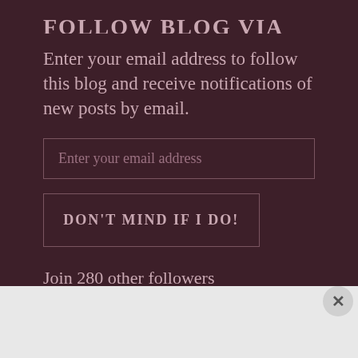FOLLOW BLOG VIA EMAIL
Enter your email address to follow this blog and receive notifications of new posts by email.
[Figure (other): Email input field with placeholder text 'Enter your email address']
[Figure (other): Button with text 'DON'T MIND IF I DO!']
Join 280 other followers
Advertisements
[Figure (infographic): Day One app advertisement banner - blue background with app logo icons and text 'The only journaling app you'll ever need.']